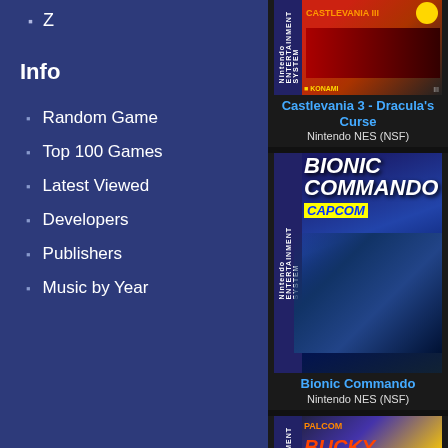Z
Info
Random Game
Top 100 Games
Latest Viewed
Developers
Publishers
Music by Year
[Figure (photo): Castlevania 3 - Dracula's Curse Nintendo NES game cartridge box art]
Castlevania 3 - Dracula's Curse
Nintendo NES (NSF)
[Figure (photo): Bionic Commando Nintendo NES game cartridge box art by Capcom]
Bionic Commando
Nintendo NES (NSF)
[Figure (photo): Bucky O'Hare Nintendo NES game cartridge box art]